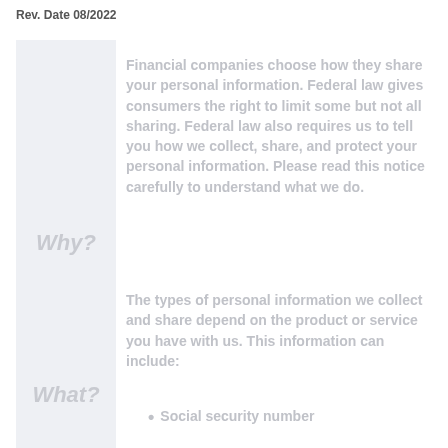Rev. Date 08/2022
Financial companies choose how they share your personal information. Federal law gives consumers the right to limit some but not all sharing. Federal law also requires us to tell you how we collect, share, and protect your personal information. Please read this notice carefully to understand what we do.
The types of personal information we collect and share depend on the product or service you have with us. This information can include:
Social security number